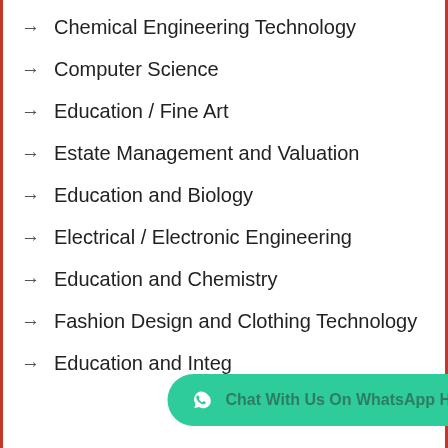Chemical Engineering Technology
Computer Science
Education / Fine Art
Estate Management and Valuation
Education and Biology
Electrical / Electronic Engineering
Education and Chemistry
Fashion Design and Clothing Technology
Education and Integ…